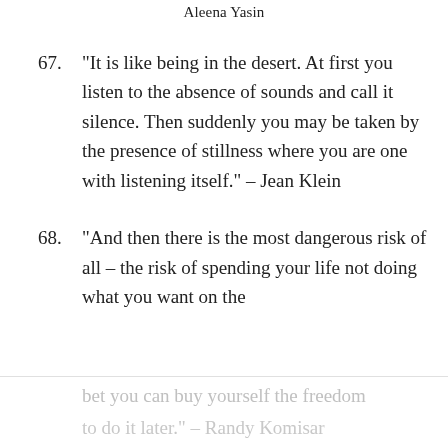Aleena Yasin
67. “It is like being in the desert. At first you listen to the absence of sounds and call it silence. Then suddenly you may be taken by the presence of stillness where you are one with listening itself.” – Jean Klein
68. “And then there is the most dangerous risk of all – the risk of spending your life not doing what you want on the
bet you can buy yourself the freedom to do it later.” – Randy Komisar